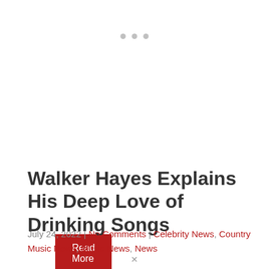[Figure (other): Three grey dots indicating a carousel or slider navigation]
Read More
Walker Hayes Explains His Deep Love of Drinking Songs
July 24, 2022 | No Comments | Celebrity News, Country Music News, Music News, News